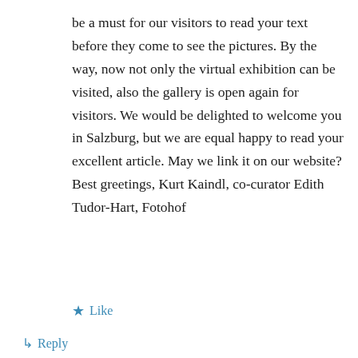be a must for our visitors to read your text before they come to see the pictures. By the way, now not only the virtual exhibition can be visited, also the gallery is open again for visitors. We would be delighted to welcome you in Salzburg, but we are equal happy to read your excellent article. May we link it on our website? Best greetings, Kurt Kaindl, co-curator Edith Tudor-Hart, Fotohof
★ Like
↳ Reply
jamesmmcardle on 30/07/2020 at 10:32 AM
Dear Kurt, thank you for your kind comments. Certainly, do link to the article